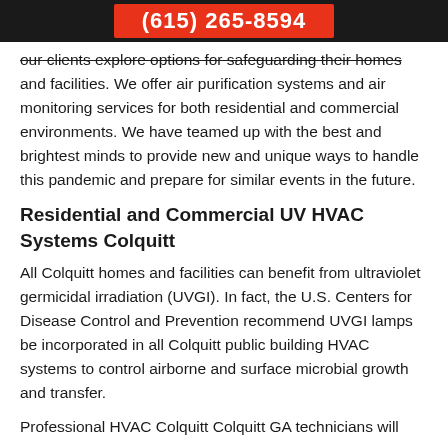(615) 265-8594
our clients explore options for safeguarding their homes and facilities. We offer air purification systems and air monitoring services for both residential and commercial environments. We have teamed up with the best and brightest minds to provide new and unique ways to handle this pandemic and prepare for similar events in the future.
Residential and Commercial UV HVAC Systems Colquitt
All Colquitt homes and facilities can benefit from ultraviolet germicidal irradiation (UVGI). In fact, the U.S. Centers for Disease Control and Prevention recommend UVGI lamps be incorporated in all Colquitt public building HVAC systems to control airborne and surface microbial growth and transfer.
Professional HVAC Colquitt Colquitt GA technicians will